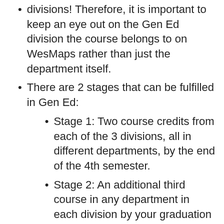divisions! Therefore, it is important to keep an eye out on the Gen Ed division the course belongs to on WesMaps rather than just the department itself.
There are 2 stages that can be fulfilled in Gen Ed:
Stage 1: Two course credits from each of the 3 divisions, all in different departments, by the end of the 4th semester.
Stage 2: An additional third course in any department in each division by your graduation
Some majors require your Gen Eds fulfilled for the completion of